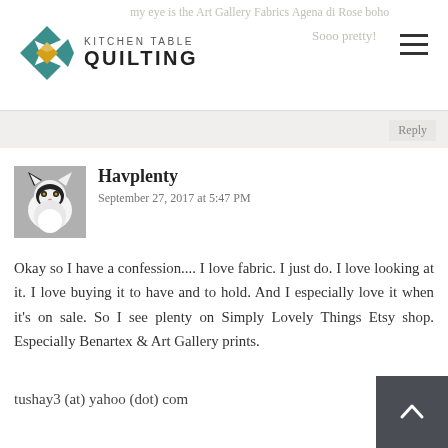KITCHEN TABLE QUILTING
my eye is the Art Gallery Fabrics Agena di Rose boho Sooo pretty!
Reply
Havplenty
September 27, 2017 at 5:47 PM
Okay so I have a confession.... I love fabric. I just do. I love looking at it. I love buying it to have and to hold. And I especially love it when it's on sale. So I see plenty on Simply Lovely Things Etsy shop. Especially Benartex & Art Gallery prints.
tushay3 (at) yahoo (dot) com